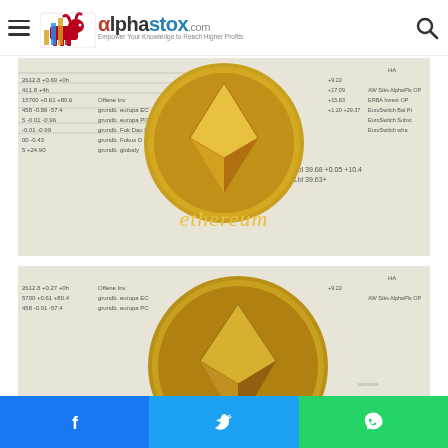alphastox.com - Empower Your Knowledge to Reach Higher Profits
[Figure (photo): An Ethereum gold coin placed on a financial newspaper showing stock market data and numbers]
[Figure (photo): A second Ethereum gold coin placed on a financial newspaper, similar composition with the coin centered on stock listings]
Share buttons: Facebook, Twitter, WhatsApp